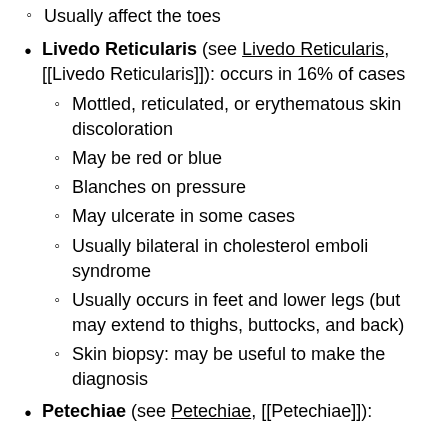Usually affect the toes
Livedo Reticularis (see Livedo Reticularis, [[Livedo Reticularis]]): occurs in 16% of cases
Mottled, reticulated, or erythematous skin discoloration
May be red or blue
Blanches on pressure
May ulcerate in some cases
Usually bilateral in cholesterol emboli syndrome
Usually occurs in feet and lower legs (but may extend to thighs, buttocks, and back)
Skin biopsy: may be useful to make the diagnosis
Petechiae (see Petechiae, [[Petechiae]]):